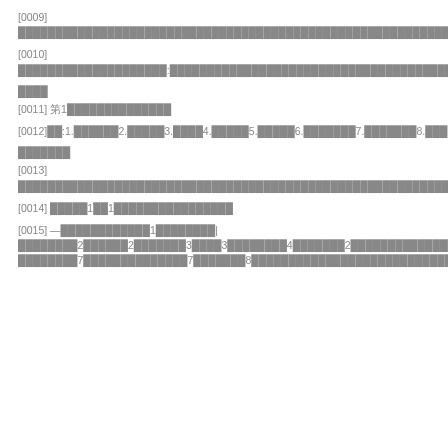[0009] ████████████████████████████████████████
[0010] ████████████████████:██████████████████████████████████████████████████████████████████████████████████████████████████████████████████████████████████████
████
[0011] 第1██████████████
[0012]██:1.██████2.█████3.████4.█████5.█████6.███████7.███████8.███9.███████
███████
[0013] ██████████████████████████████████████████████████████████████████████████████████████████
[0014] █████1██1████████████████
[0015] —████████████1████████|████████2██████2███████3████3████████4███████2████████████████5████████4██████████████6██████████6████████4████████████|████████7██████████████7███████8█████████████████████████